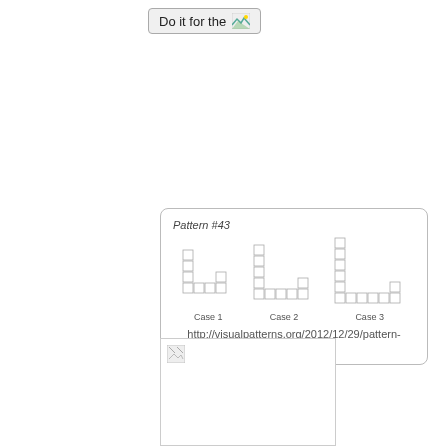[Figure (other): Button labeled 'Do it for the' with a broken image icon]
[Figure (illustration): Pattern #43 showing three cases of L-shaped block arrangements made of unit squares. Case 1: small L-shape, Case 2: medium L-shape, Case 3: larger L-shape. URL: http://visualpatterns.org/2012/12/29/pattern-43.aspx]
[Figure (other): Broken image placeholder (white box with broken image icon in top-left)]